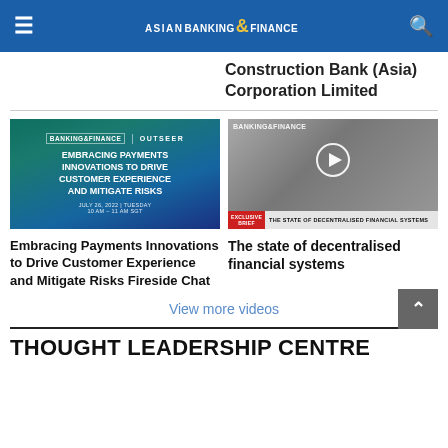ASIAN BANKING & FINANCE
Construction Bank (Asia) Corporation Limited
[Figure (photo): Green promotional banner for 'Embracing Payments Innovations to Drive Customer Experience and Mitigate Risks' webinar, July 26, 2022, 10AM-11AM SGT, co-branded Banking & Finance and Outseer]
[Figure (photo): Video thumbnail showing a person in a white hijab, with overlay text 'THE STATE OF DECENTRALISED FINANCIAL SYSTEMS' and an Exclusive badge]
Embracing Payments Innovations to Drive Customer Experience and Mitigate Risks Fireside Chat
The state of decentralised financial systems
View more videos
THOUGHT LEADERSHIP CENTRE